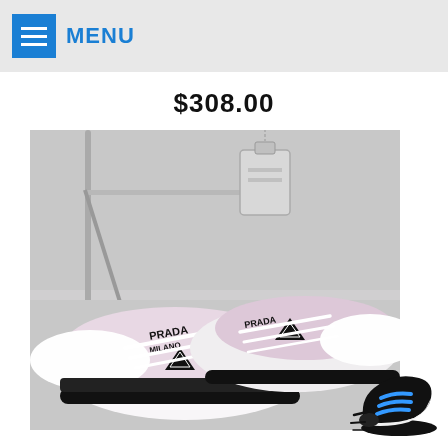MENU
$308.00
[Figure (photo): Product photo of Prada sneakers — white and pink leather low-top sneakers with Prada Milano logo and triangle logo patch, displayed with white shoelaces on a light grey background with a chrome rack and small silver bag visible in the background.]
[Figure (logo): Black and blue sneaker brand icon/logo in the bottom-right corner, showing a stylized running shoe silhouette with blue laces.]